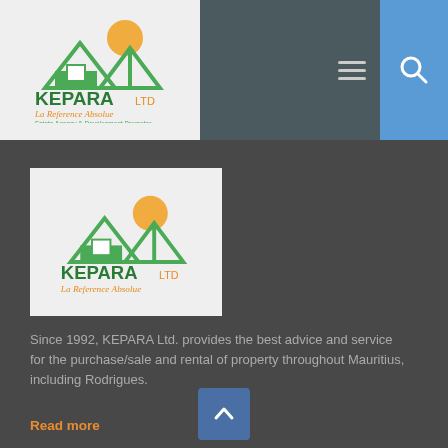KEPARA LTD — La Reference Absolue — Estate Agency & Development Promoter
[Figure (logo): KEPARA LTD logo with house/triangle icons in green and orange, tagline 'La Reference Absolue', subtitle 'Estate Agency & Development Promoter']
[Figure (logo): KEPARA LTD logo (smaller version) with house/triangle icons in green and orange, tagline 'La Reference Absolue']
Since 1992, KEPARA Ltd. provides the best advice and service for the purchase/sale and rental of property throughout Mauritius, including Rodrigues.
Read more